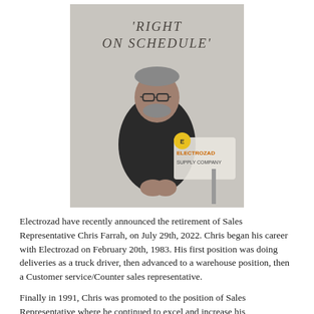[Figure (photo): Black and white photo of Chris Farrah, a middle-aged man with glasses and a beard wearing a dark polo shirt, standing in front of an Electrozad Supply Company sign with 'RIGHT ON SCHEDULE' written on the wall above.]
Electrozad have recently announced the retirement of Sales Representative Chris Farrah, on July 29th, 2022. Chris began his career with Electrozad on February 20th, 1983. His first position was doing deliveries as a truck driver, then advanced to a warehouse position, then a Customer service/Counter sales representative.
Finally in 1991, Chris was promoted to the position of Sales Representative where he continued to excel and increase his relationships with customers and vendors for the remainder of his career. Chris had been a valuable member not only of Electrozad's